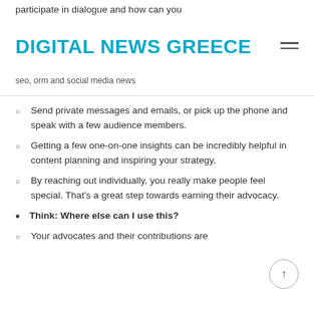participate in dialogue and how can you
DIGITAL NEWS GREECE
seo, orm and social media news
Send private messages and emails, or pick up the phone and speak with a few audience members.
Getting a few one-on-one insights can be incredibly helpful in content planning and inspiring your strategy.
By reaching out individually, you really make people feel special. That's a great step towards earning their advocacy.
Think: Where else can I use this?
Your advocates and their contributions are